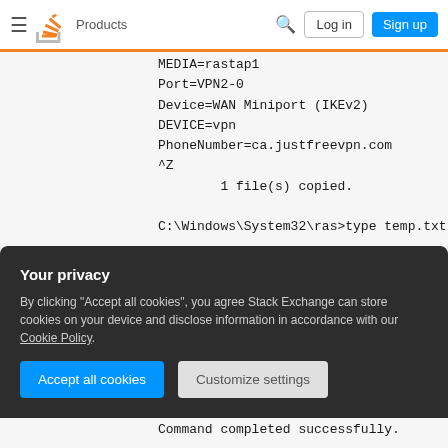Products | Log in | Sign up
MEDIA=rastap1
Port=VPN2-0
Device=WAN Miniport (IKEv2)
DEVICE=vpn
PhoneNumber=ca.justfreevpn.com
^Z
        1 file(s) copied.

C:\Windows\System32\ras>type temp.txt >> ra

C:\Windows\System32\ras>del temp.txt

C:\Windows\System32\ras>rasdial "Canada VPN
Connecting to Canada VPN Connection...
Verifying username and password...

Command completed successfully.
Your privacy
By clicking "Accept all cookies", you agree Stack Exchange can store cookies on your device and disclose information in accordance with our Cookie Policy.
Accept all cookies
Customize settings